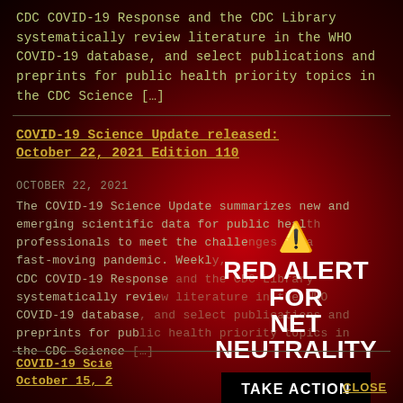CDC COVID-19 Response and the CDC Library systematically review literature in the WHO COVID-19 database, and select publications and preprints for public health priority topics in the CDC Science […]
COVID-19 Science Update released: October 22, 2021 Edition 110
OCTOBER 22, 2021
The COVID-19 Science Update summarizes new and emerging scientific data for public health professionals to meet the challenges of a fast-moving pandemic. Weekly, CDC COVID-19 Response and the CDC Library systematically review literature in the WHO COVID-19 database, and select preprints for public health priority topics in the CDC Science […]
[Figure (infographic): Red Alert for Net Neutrality overlay with warning triangle, bold white text 'RED ALERT FOR NET NEUTRALITY', and a black 'TAKE ACTION' button]
COVID-19 Science Update released: October 15, 2…
CLOSE